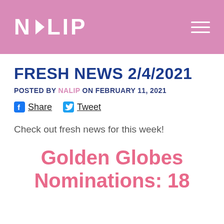NALIP
FRESH NEWS 2/4/2021
POSTED BY NALIP ON FEBRUARY 11, 2021
Share  Tweet
Check out fresh news for this week!
Golden Globes Nominations: 18